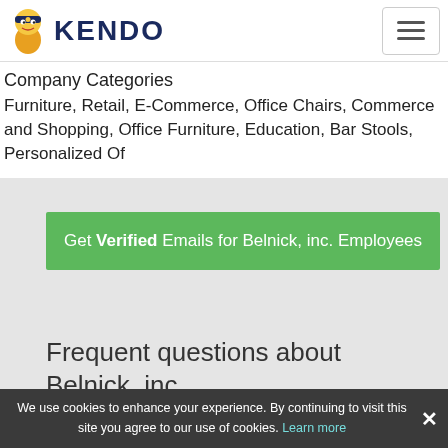KENDO
Company Categories
Furniture, Retail, E-Commerce, Office Chairs, Commerce and Shopping, Office Furniture, Education, Bar Stools, Personalized Of
Get Verified Emails for Belnick, inc. Employees
Frequent questions about Belnick, inc.
We use cookies to enhance your experience. By continuing to visit this site you agree to our use of cookies. Learn more